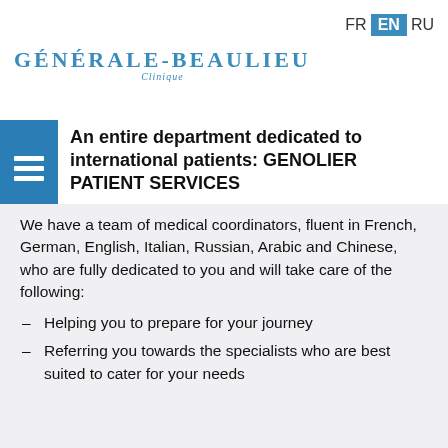[Figure (logo): Générale-Beaulieu Clinique logo with blue horizontal lines above the text]
FR EN RU
An entire department dedicated to international patients: GENOLIER PATIENT SERVICES
We have a team of medical coordinators, fluent in French, German, English, Italian, Russian, Arabic and Chinese, who are fully dedicated to you and will take care of the following:
Helping you to prepare for your journey
Referring you towards the specialists who are best suited to cater for your needs